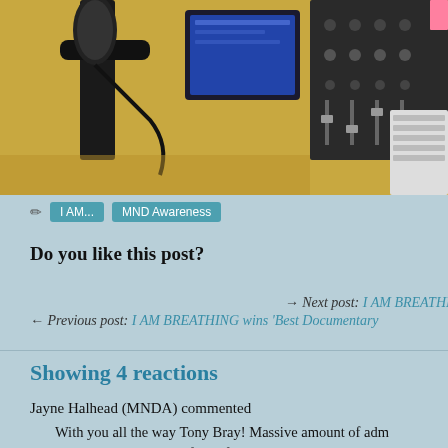[Figure (photo): Photo of a radio broadcasting studio desk with microphone, audio mixing equipment, a tablet/monitor, and keyboard on a wooden surface]
I AM...   MND Awareness
Do you like this post?
→ Next post: I AM BREATHIN
← Previous post: I AM BREATHING wins 'Best Documentary
Showing 4 reactions
Jayne Halhead (MNDA) commented
With you all the way Tony Bray! Massive amount of adm to raise awareness and funds for this horrendous disease